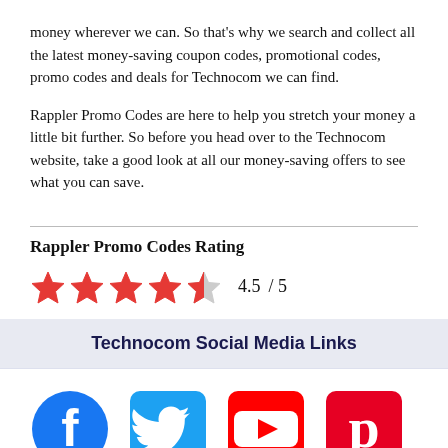Here at Rappler Promo Codes, we like to save you money wherever we can. So that's why we search and collect all the latest money-saving coupon codes, promotional codes, promo codes and deals for Technocom we can find.
Rappler Promo Codes are here to help you stretch your money a little bit further. So before you head over to the Technocom website, take a good look at all our money-saving offers to see what you can save.
Rappler Promo Codes Rating
[Figure (other): 4.5 out of 5 star rating shown with 4 full stars and 1 half star, followed by text '4.5 / 5']
Technocom Social Media Links
[Figure (infographic): Four social media icons: Facebook (blue circle with f), Twitter (blue square with bird), YouTube (red square with play button), Pinterest (red square with P)]